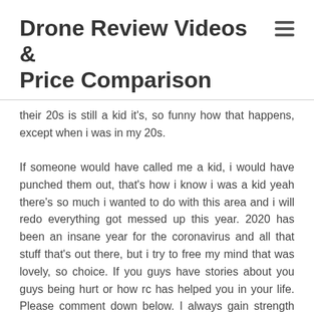Drone Review Videos & Price Comparison
their 20s is still a kid it's, so funny how that happens, except when i was in my 20s.
If someone would have called me a kid, i would have punched them out, that's how i know i was a kid yeah there's so much i wanted to do with this area and i will redo everything got messed up this year. 2020 has been an insane year for the coronavirus and all that stuff that's out there, but i try to free my mind that was lovely, so choice. If you guys have stories about you guys being hurt or how rc has helped you in your life. Please comment down below. I always gain strength when i'm hurt by reading other people's stories. It definitely does help me know that i am